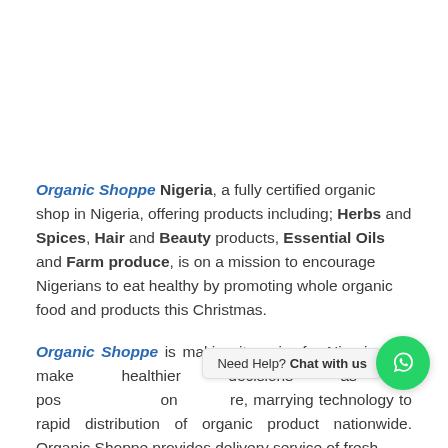Organic Shoppe Nigeria, a fully certified organic shop in Nigeria, offering products including; Herbs and Spices, Hair and Beauty products, Essential Oils and Farm produce, is on a mission to encourage Nigerians to eat healthy by promoting whole organic food and products this Christmas.
Organic Shoppe is making it easier for Nigerians to make healthier decisions as it pos... on...re, marrying technology to rapid distribution of organic product nationwide. Organic Shoppe provides delivery service of fresh